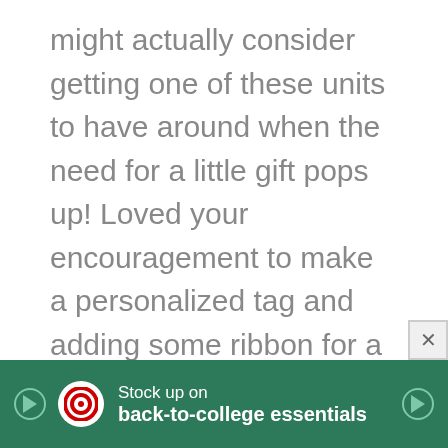might actually consider getting one of these units to have around when the need for a little gift pops up! Loved your encouragement to make a personalized tag and adding some ribbon for a bow to a plain little shopping bag! This a great way to make even the smallest gift so much more special! You are just full of great ideas and one of the many reasons I love following your blog! Thanks for sharing your creativity with
[Figure (other): Target advertisement banner: dark green background with Target bullseye logo (white circle), text 'Stock up on back-to-college essentials' in white, play button icons on left and right sides]